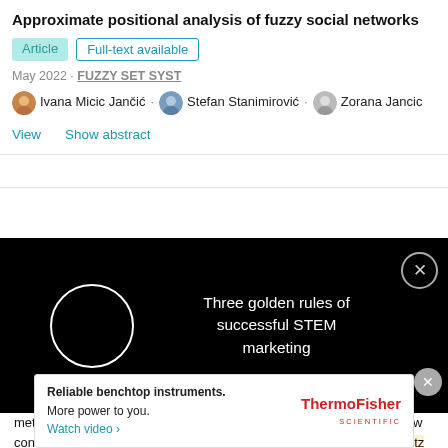Approximate positional analysis of fuzzy social networks
Article  Full-text available
May 2022 · FUZZY SET SYST
Ivana Micic Jančić · Stefan Stanimirović · Zorana Jancic
View  Show abstract
[Figure (screenshot): Black video overlay banner showing a circular play button icon on the left and text 'Three golden rules of successful STEM marketing' on the right with a close (X) button]
metropolitan regions, towards C-P or even P-P positions, to create new content and build original collections and products (Glückler and Panitz 2016) . This
[Figure (screenshot): Advertisement banner: 'Reliable benchtop instruments. More power to you. Watch video ›' with ThermoFisher Scientific logo]